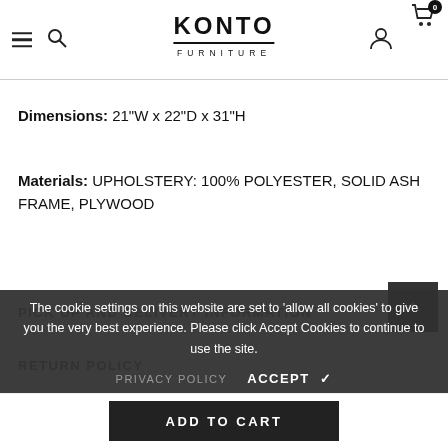KONTO FURNITURE — navigation header with hamburger, search, logo, user icon, cart (0)
Dimensions: 21"W x 22"D x 31"H
Materials: UPHOLSTERY: 100% POLYESTER, SOLID ASH FRAME, PLYWOOD
PICK UP AND DELIVERY INFORMATION
RETURN POLICY
The cookie settings on this website are set to 'allow all cookies' to give you the very best experience. Please click Accept Cookies to continue to use the site.
PRIVACY POLICY   ACCEPT ✔
ADD TO CART